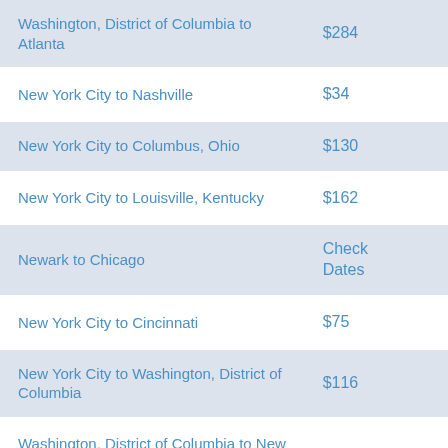| Route | Price |
| --- | --- |
| Washington, District of Columbia to Atlanta | $284 |
| New York City to Nashville | $34 |
| New York City to Columbus, Ohio | $130 |
| New York City to Louisville, Kentucky | $162 |
| Newark to Chicago | Check Dates |
| New York City to Cincinnati | $75 |
| New York City to Washington, District of Columbia | $116 |
| Washington, District of Columbia to New... |  |